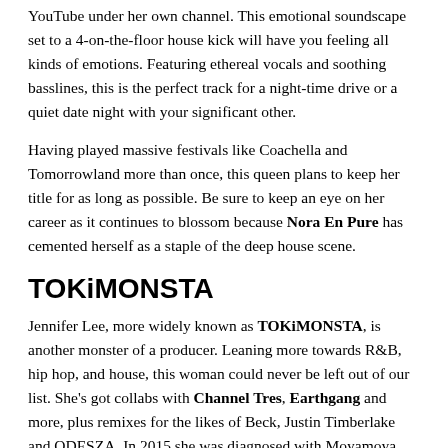YouTube under her own channel. This emotional soundscape set to a 4-on-the-floor house kick will have you feeling all kinds of emotions. Featuring ethereal vocals and soothing basslines, this is the perfect track for a night-time drive or a quiet date night with your significant other.
Having played massive festivals like Coachella and Tomorrowland more than once, this queen plans to keep her title for as long as possible. Be sure to keep an eye on her career as it continues to blossom because Nora En Pure has cemented herself as a staple of the deep house scene.
TOKiMONSTA
Jennifer Lee, more widely known as TOKiMONSTA, is another monster of a producer. Leaning more towards R&B, hip hop, and house, this woman could never be left out of our list. She's got collabs with Channel Tres, Earthgang and more, plus remixes for the likes of Beck, Justin Timberlake and ODESZA. In 2015 she was diagnosed with Moyamoya Disease which left her without language and comprehension skills for a brief time. Despite this, she